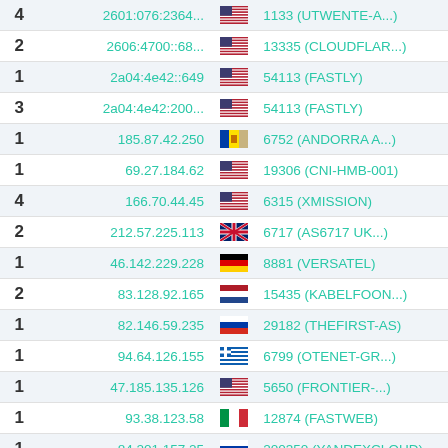| Count | IP | Flag | ASN |
| --- | --- | --- | --- |
| 4 | 2601:076:2364... | US | 1133 (UTWENTE-A...) |
| 2 | 2606:4700::68... | US | 13335 (CLOUDFLAR...) |
| 1 | 2a04:4e42::649 | US | 54113 (FASTLY) |
| 3 | 2a04:4e42:200... | US | 54113 (FASTLY) |
| 1 | 185.87.42.250 | AD | 6752 (ANDORRA A...) |
| 1 | 69.27.184.62 | US | 19306 (CNI-HMB-001) |
| 4 | 166.70.44.45 | US | 6315 (XMISSION) |
| 2 | 212.57.225.113 | GB | 6717 (AS6717 UK...) |
| 1 | 46.142.229.228 | DE | 8881 (VERSATEL) |
| 2 | 83.128.92.165 | NL | 15435 (KABELFOON...) |
| 1 | 82.146.59.235 | RU | 29182 (THEFIRST-AS) |
| 1 | 94.64.126.155 | GR | 6799 (OTENET-GR...) |
| 1 | 47.185.135.126 | US | 5650 (FRONTIER-...) |
| 1 | 93.38.123.58 | IT | 12874 (FASTWEB) |
| 1 | 84.201.157.25 | RU | 200350 (YANDEXCLOUD) |